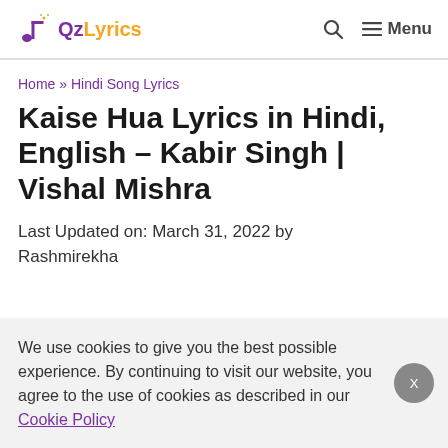QzLyrics | Search | Menu
Home » Hindi Song Lyrics
Kaise Hua Lyrics in Hindi, English – Kabir Singh | Vishal Mishra
Last Updated on: March 31, 2022 by Rashmirekha
We use cookies to give you the best possible experience. By continuing to visit our website, you agree to the use of cookies as described in our Cookie Policy